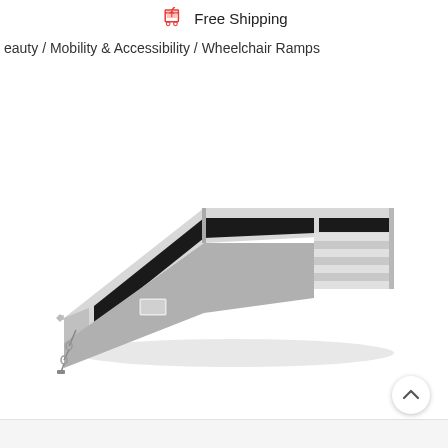Free Shipping
eauty / Mobility & Accessibility / Wheelchair Ramps
[Figure (photo): A foldable aluminum wheelchair ramp with black non-slip surface, shown at an angle. The ramp has white/silver aluminum frame with ridged steps on the lower end and a small chain lock on the left side.]